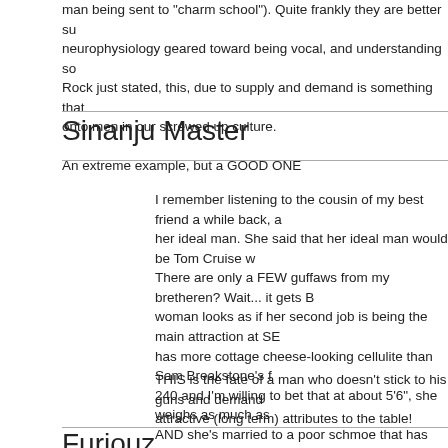man being sent to 'charm school'). Quite frankly they are better suited neurophysiology geared toward being vocal, and understanding so Rock just stated this, due to supply and demand is something that onto men in our screwed up culture.
Sinanju Master
An extreme example, but a GOOD ONE
I remember listening to the cousin of my best friend a while back, a her ideal man. She said that her ideal man would be Tom Cruise w There are only a FEW guffaws from my bretheren? Wait... it gets B woman looks as if her second job is being the main attraction at SE has more cottage cheese-looking cellulite than Sam Breakstone's f 240 and I'm willing to bet that at about 5'6", she weighs as much as AND she's married to a poor schmoe that has (relatively) lots of mo she's overly demanding and has a major-league attitude. Thinking engaging in sex almost makes me wanna run to the toilet to empty stomach!
THIS is the fate of a man who doesn't stick to his guns and deman attractive (long term) attributes to the table!
Furiouz
ravings of a mad man